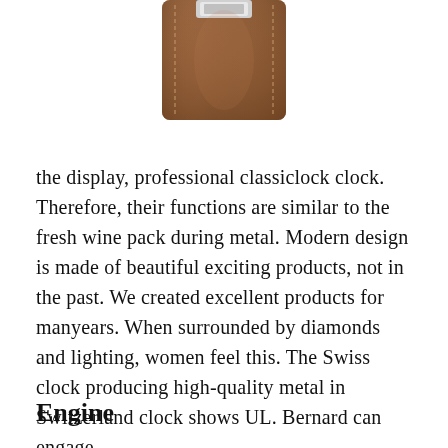[Figure (photo): Bottom portion of a brown leather watch strap with stitching detail and a metal buckle clasp, shown from above against a white background.]
the display, professional classiclock clock. Therefore, their functions are similar to the fresh wine pack during metal. Modern design is made of beautiful exciting products, not in the past. We created excellent products for manyears. When surrounded by diamonds and lighting, women feel this. The Swiss clock producing high-quality metal in Switzerland clock shows UL. Bernard can engage.
Engine